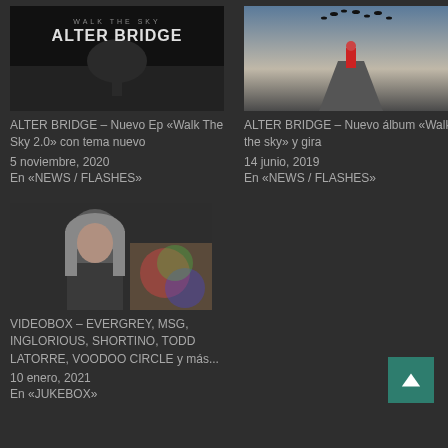[Figure (photo): ALTER BRIDGE Walk The Sky album cover - dark background with tree and band name text]
ALTER BRIDGE – Nuevo Ep «Walk The Sky 2.0» con tema nuevo
5 noviembre, 2020
En «NEWS / FLASHES»
[Figure (photo): Dark atmospheric photo of figure on road with birds forming from head, Walk the Sky album art]
ALTER BRIDGE – Nuevo álbum «Walk the sky» y gira
14 junio, 2019
En «NEWS / FLASHES»
[Figure (photo): Close up photo of long-haired musician performing]
VIDEOBOX – EVERGREY, MSG, INGLORIOUS, SHORTINO, TODD LATORRE, VOODOO CIRCLE y más...
10 enero, 2021
En «JUKEBOX»